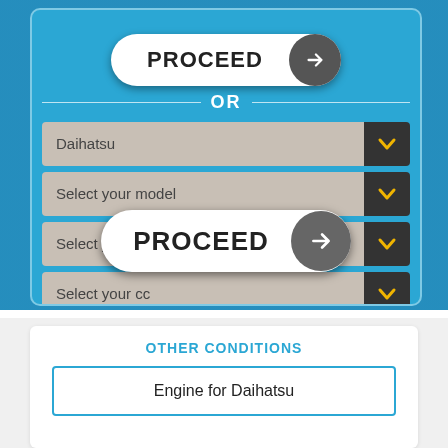[Figure (screenshot): PROCEED button (top) with right arrow on blue engine background]
OR
Daihatsu
Select your model
Select your year
Select your cc
[Figure (screenshot): PROCEED button (bottom) with right arrow on blue engine background]
OTHER CONDITIONS
Engine for Daihatsu